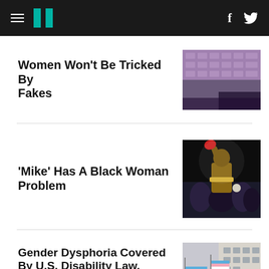HuffPost navigation with hamburger menu, logo, Facebook and Twitter icons
Women Won't Be Tricked By Fakes
[Figure (photo): Building facade with grid windows at dusk/night with purple sky]
'Mike' Has A Black Woman Problem
[Figure (photo): Boxer raising fist with boxing glove at a fight event, crowd behind him]
Gender Dysphoria Covered By U.S. Disability Law, Federal Court Rules
[Figure (photo): Person holding transgender pride flags at a protest or march, sign visible]